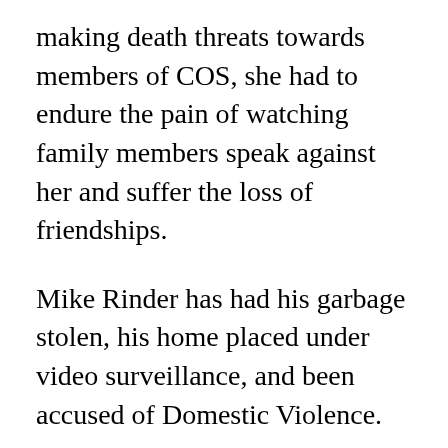making death threats towards members of COS, she had to endure the pain of watching family members speak against her and suffer the loss of friendships.
Mike Rinder has had his garbage stolen, his home placed under video surveillance, and been accused of Domestic Violence.
People who have come forward